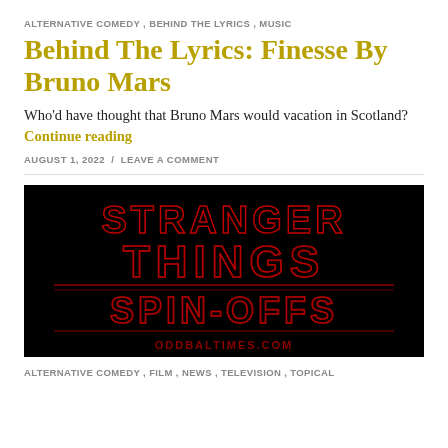ALTERNATIVE COMEDY , BEHIND THE LYRICS , MUSIC
Behind The Lyrics: Finesse By Bruno Mars
Who'd have thought that Bruno Mars would vacation in Scotland? Continue reading
AUGUST 1, 2022 / LEAVE A COMMENT
[Figure (photo): Stranger Things Spin-Offs logo on black background with red neon-style lettering, ODDBALTIMES.COM watermark at bottom]
ALTERNATIVE COMEDY , FILM , NEWS , TELEVISION , TOPICAL